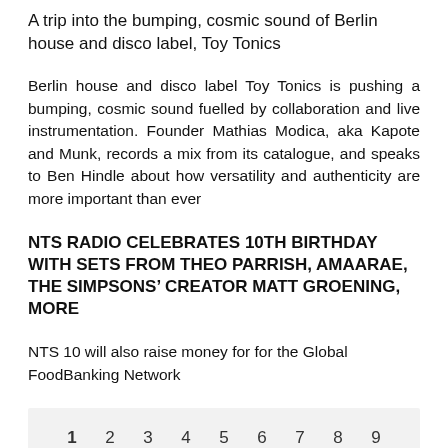A trip into the bumping, cosmic sound of Berlin house and disco label, Toy Tonics
Berlin house and disco label Toy Tonics is pushing a bumping, cosmic sound fuelled by collaboration and live instrumentation. Founder Mathias Modica, aka Kapote and Munk, records a mix from its catalogue, and speaks to Ben Hindle about how versatility and authenticity are more important than ever
NTS RADIO CELEBRATES 10TH BIRTHDAY WITH SETS FROM THEO PARRISH, AMAARAE, THE SIMPSONS’ CREATOR MATT GROENING, MORE
NTS 10 will also raise money for for the Global FoodBanking Network
1  2  3  4  5  6  7  8  9  …  next ›  last »